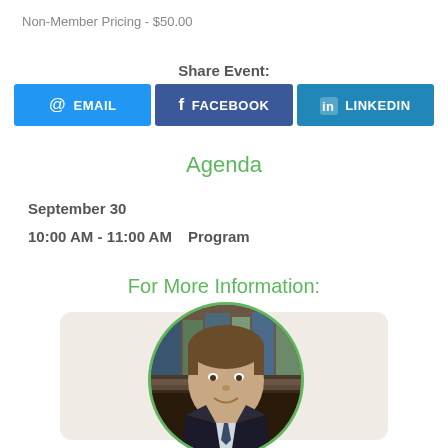Non-Member Pricing - $50.00
Share Event:
@ EMAIL  f FACEBOOK  in LINKEDIN
Agenda
September 30
10:00 AM - 11:00 AM    Program
For More Information:
[Figure (photo): Circular portrait photo of a man in a dark suit with a tie, smiling, with bookshelves in the background. Photo appears inside a card with a beige/tan background.]